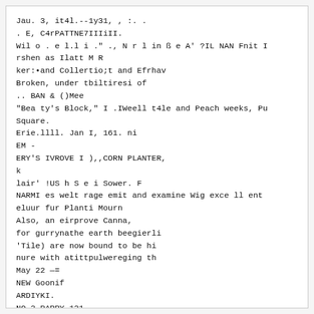Jau. 3, it4l.--1y31, , :. .
. E, C4rPATTNE7IIIiII.
Wil o . e l.l i ." ., N r l in ß e A' ?IL NAN Fnit I
rshen as Ilatt M R
ker:•and Collertio;t and Efrhav
Broken, under tbiltiresi of
.. BAN & ()Mee
"Bea ty's Block," I .IWeell t4le and Peach weeks, Pu
Square.
Erie.llll. Jan I, 161. ni
EM -
ERY'S IVROVE I ),,CORN PLANTER,
k
lair' !US h S e i Sower. F
NARMI es welt rage emit and examine Wig exce ll ent
eluur fur Planti Mourn
Also, an eirprove Canna,
for gurrynathe earth beegierli
'Tile) are now bound to be hi
nure with atittpulwereging th
May 22 —=
NEW Goonif
ARDIYKI.
NO 3 PARRY 131